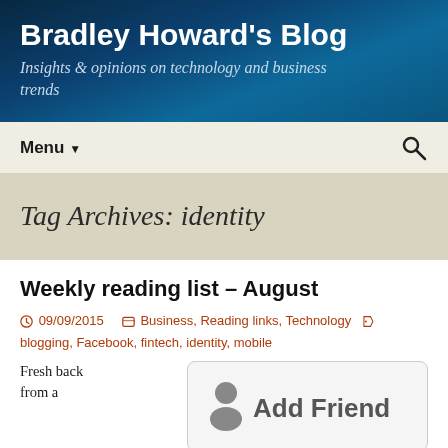Bradley Howard's Blog
Insights & opinions on technology and business trends
Menu
Tag Archives: identity
Weekly reading list – August
09/09/2015   Business, Reading links, Technology   blogging, Facebook, fintech, identity, mobile
Fresh back from a
[Figure (screenshot): Add Friend button UI element with a person icon and 'Add Friend' text on a light grey rounded rectangle]